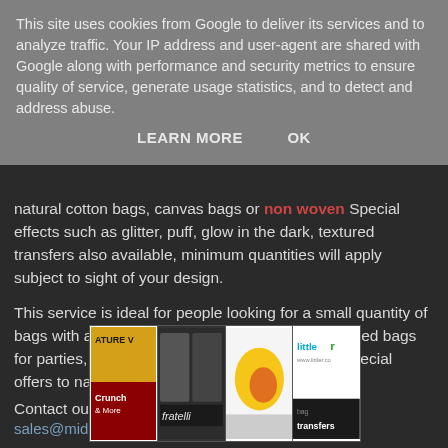This site uses cookies from Google to deliver its services and to analyze traffic. Your IP address and user-agent are shared with Google along with performance and security metrics to ensure quality of service, generate usage statistics, and to detect and address abuse.
LEARN MORE    OK
natural cotton bags, canvas bags or non-woven. Special effects such as glitter, puff, glow in the dark, textured transfers also available, minimum quantities will apply subject to sight of your design.
This service is ideal for people looking for a small quantity of bags with a multi coloured design, or as personalised bags for parties, hen and stag parties, charities, gifts, special offers to name but a few.
Contact our sales team for further information
sales@midpac.co.uk
[Figure (photo): Strip of four images showing branded bags: Nature Valley Crunch & More, Fratelli, a yellow/orange bag, and Little R brand bag transfers logo]